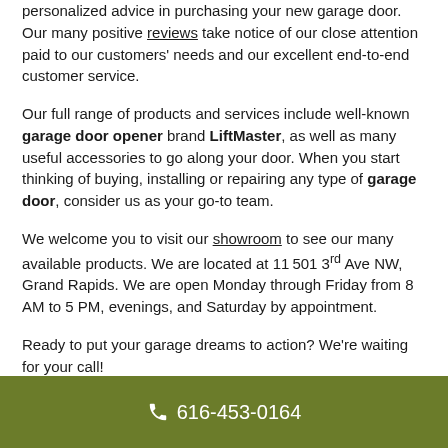personalized advice in purchasing your new garage door. Our many positive reviews take notice of our close attention paid to our customers' needs and our excellent end-to-end customer service.
Our full range of products and services include well-known garage door opener brand LiftMaster, as well as many useful accessories to go along your door. When you start thinking of buying, installing or repairing any type of garage door, consider us as your go-to team.
We welcome you to visit our showroom to see our many available products. We are located at 11501 3rd Ave NW, Grand Rapids. We are open Monday through Friday from 8 AM to 5 PM, evenings, and Saturday by appointment.
Ready to put your garage dreams to action? We're waiting for your call!
616-453-0164